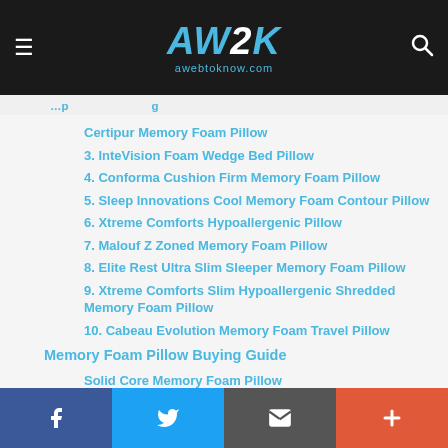AW2K awebtoknow.com
Certipur Memory Foam Pillow
3. InteVision Foam Wedge Bed Pillow
4. Conforma Cushion Firm Memory Foam Pillow
5. Sleep Innovations Cool Memory Foam Contour Pillow
6. Xtreme Comforts Hypoallergenic Pillow
7. Malouf Z Zoned Memory Foam Pillow
8. Elite Rest Ultra Slim Sleeper Memory Foam Pillow
9. Xtreme Comforts Slim Hypoallergenic Shredded Memory Foam Pillow
10. Cabeau Evolution Memory Foam Travel Pillow
Memory Foam Pillow Buying Guide
Solid Core Memory Foam Pillow
f  Twitter  Email  +